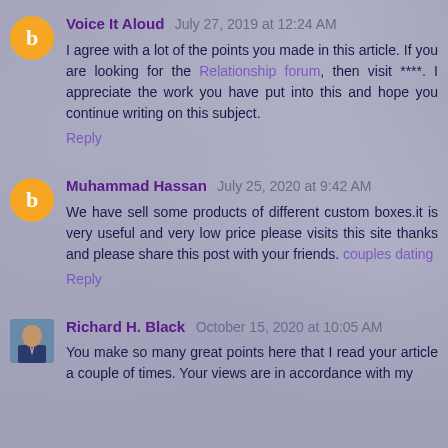Voice It Aloud July 27, 2019 at 12:24 AM — I agree with a lot of the points you made in this article. If you are looking for the Relationship forum, then visit ****. I appreciate the work you have put into this and hope you continue writing on this subject. Reply
Muhammad Hassan July 25, 2020 at 9:42 AM — We have sell some products of different custom boxes.it is very useful and very low price please visits this site thanks and please share this post with your friends. couples dating Reply
Richard H. Black October 15, 2020 at 10:05 AM — You make so many great points here that I read your article a couple of times. Your views are in accordance with my